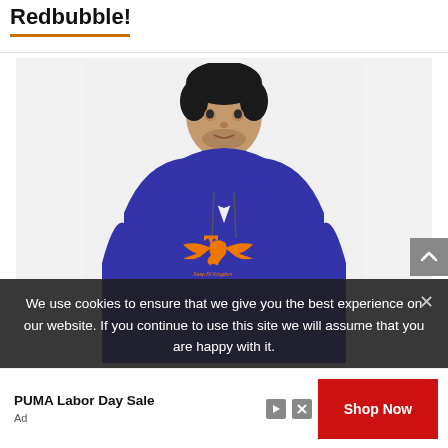Redbubble!
[Figure (photo): Man wearing a blue hoodie with an orange Keep Fit Kingdom logo (winged crown/bee design) on the chest, photographed from waist up against a light grey background.]
We use cookies to ensure that we give you the best experience on our website. If you continue to use this site we will assume that you are happy with it.
PUMA Labor Day Sale
Shop Now
Ad